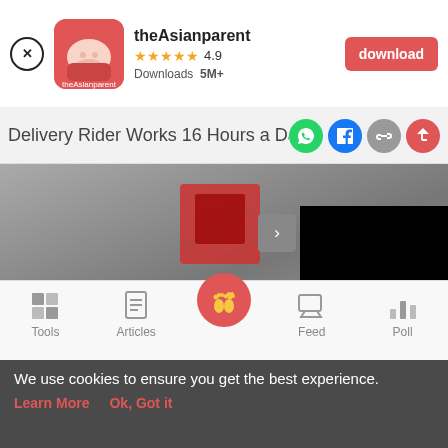[Figure (screenshot): theAsianparent app banner with close button, app icon, name, rating (4.9 stars, 5M+ downloads), and download button]
Delivery Rider Works 16 Hours a Day
[Figure (photo): Aerial view of a delivery rider on a motorcycle with red delivery box, partially overlaid with a black rectangle and navigation arrow]
3 min read
[Figure (screenshot): Bottom navigation bar with Tools, Articles, center baby footprints icon, Feed, and Poll]
We use cookies to ensure you get the best experience.
Learn More   Ok, Got it